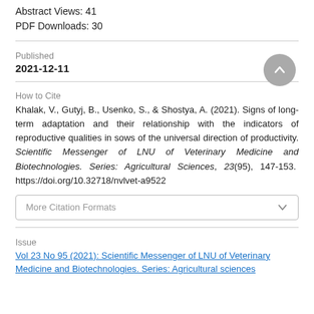Abstract Views: 41
PDF Downloads: 30
Published
2021-12-11
How to Cite
Khalak, V., Gutyj, B., Usenko, S., & Shostya, A. (2021). Signs of long-term adaptation and their relationship with the indicators of reproductive qualities in sows of the universal direction of productivity. Scientific Messenger of LNU of Veterinary Medicine and Biotechnologies. Series: Agricultural Sciences, 23(95), 147-153. https://doi.org/10.32718/nvlvet-a9522
More Citation Formats
Issue
Vol 23 No 95 (2021): Scientific Messenger of LNU of Veterinary Medicine and Biotechnologies. Series: Agricultural sciences